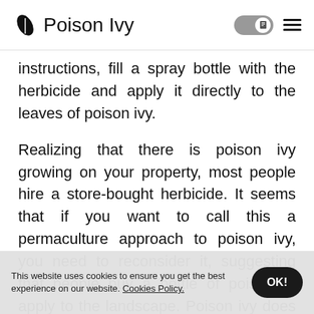Poison Ivy
instructions, fill a spray bottle with the herbicide and apply it directly to the leaves of poison ivy.
Realizing that there is poison ivy growing on your property, most people hire a store-bought herbicide. It seems that if you want to call this a permaculture approach to poison ivy, you need to reconsider it, suggesting that people buy a bottle of poison to apply to the landscape. Poison ivy does not usually invade mowed grass, but rather prefers shade along fences and rocky walls or in wooded areas. When you're done, take off your gardening clothes as well and, put them in a washing machine on a high temperature.
This website uses cookies to ensure you get the best experience on our website. Cookies Policy.